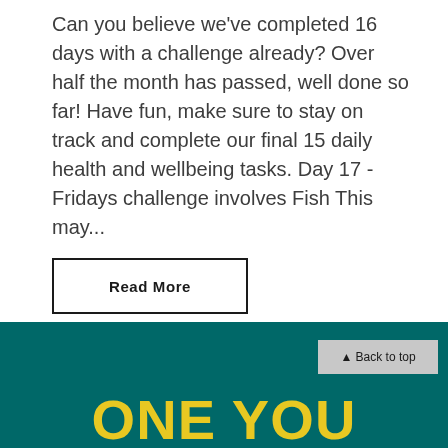Can you believe we've completed 16 days with a challenge already? Over half the month has passed, well done so far! Have fun, make sure to stay on track and complete our final 15 daily health and wellbeing tasks. Day 17 - Fridays challenge involves Fish This may...
Read More
▲ Back to top
ONE YOU